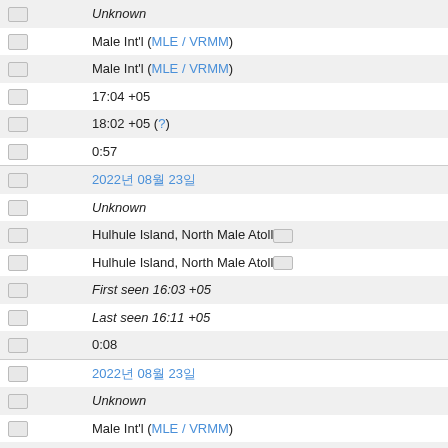|  | Unknown |
|  | Male Int'l (MLE / VRMM) |
|  | Male Int'l (MLE / VRMM) |
|  | 17:04 +05 |
|  | 18:02 +05 (?) |
|  | 0:57 |
|  | 2022년 08월 23일 |
|  | Unknown |
|  | Hulhule Island, North Male Atoll… |
|  | Hulhule Island, North Male Atoll… |
|  | First seen 16:03 +05 |
|  | Last seen 16:11 +05 |
|  | 0:08 |
|  | 2022년 08월 23일 |
|  | Unknown |
|  | Male Int'l (MLE / VRMM) |
|  | Hulhule Island, North Male Atoll… |
|  | 11:49 +05 |
|  | Last seen 11:54 +05 |
|  | 0:04 |